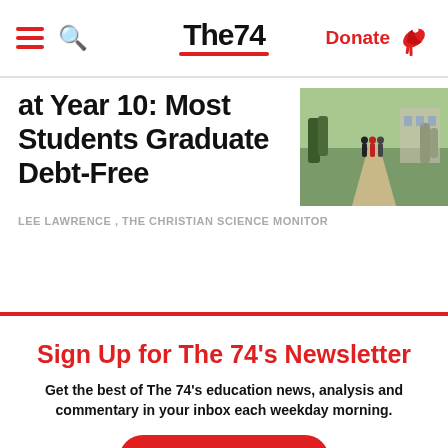The74 — Donate
at Year 10: Most Students Graduate Debt-Free
LEE LAWRENCE , THE CHRISTIAN SCIENCE MONITOR
Sign Up for The 74's Newsletter
Get the best of The 74's education news, analysis and commentary in your inbox each weekday morning.
Subscribe